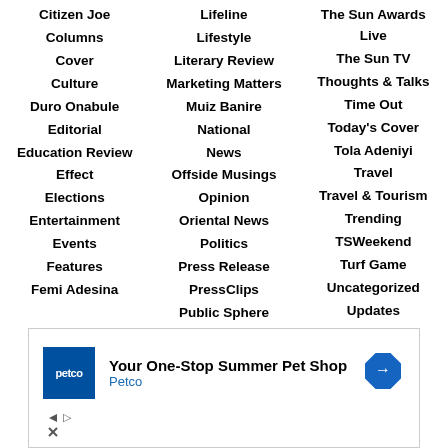Citizen Joe
Columns
Cover
Culture
Duro Onabule
Editorial
Education Review
Effect
Elections
Entertainment
Events
Features
Femi Adesina
Lifeline
Lifestyle
Literary Review
Marketing Matters
Muiz Banire
National
News
Offside Musings
Opinion
Oriental News
Politics
Press Release
PressClips
Public Sphere
The Sun Awards Live
The Sun TV
Thoughts & Talks
Time Out
Today's Cover
Tola Adeniyi
Travel
Travel & Tourism
Trending
TSWeekend
Turf Game
Uncategorized
Updates
[Figure (other): Petco advertisement banner: Your One-Stop Summer Pet Shop]